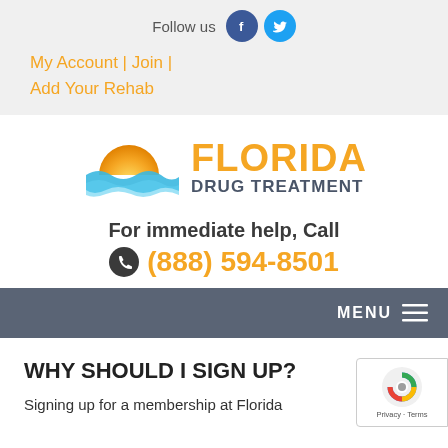Follow us
My Account | Join | Add Your Rehab
[Figure (logo): Florida Drug Treatment logo with sun and wave graphic]
For immediate help, Call (888) 594-8501
MENU
WHY SHOULD I SIGN UP?
Signing up for a membership at Florida